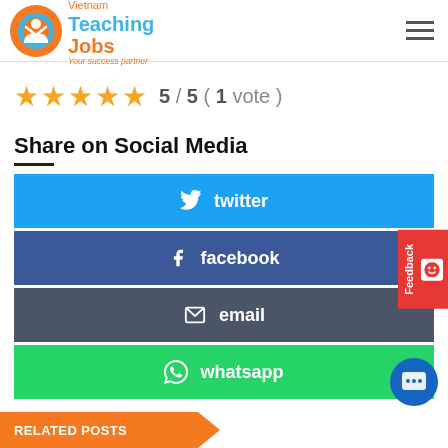[Figure (logo): Vietnam TeachingJobs logo with orange and blue circular emblem, text 'Vietnam TeachingJobs Your success partner']
5 / 5 ( 1 vote )
Share on Social Media
twitter
facebook
email
whatsapp
RELATED POSTS